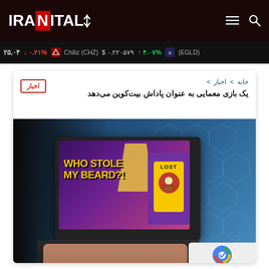IRANITAL — navigation header with logo and menu/search icons
(EGLD) ۴.۰۷% ↑ ۰.۲۲۰۵۷۹ $ Chiliz (CHZ) ۰.۲۱% ↓ ۲۵,۰۴
خانه > اخبار >
یک بازی معمایی به عنوان پاداش بیت‌کوین می‌دهد
اخبار
[Figure (illustration): A person typing on a laptop showing a game called 'Who Stole My Beard? LOST' on screen, with hexagonal tech background pattern]